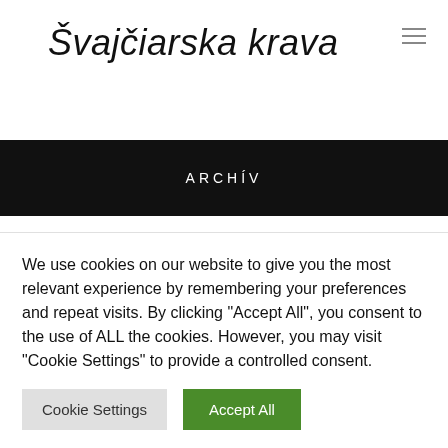Švajčiarska krava
ARCHÍV
June 2022
We use cookies on our website to give you the most relevant experience by remembering your preferences and repeat visits. By clicking "Accept All", you consent to the use of ALL the cookies. However, you may visit "Cookie Settings" to provide a controlled consent.